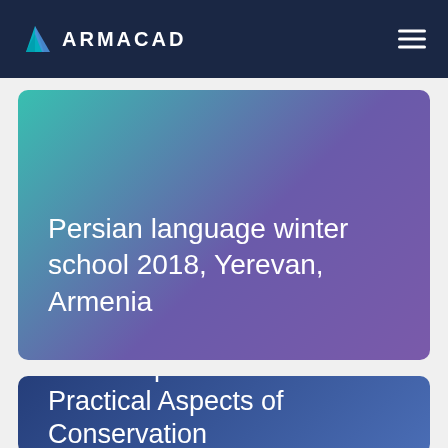ARMACAD
Persian language winter school 2018, Yerevan, Armenia
Workshop - Theoretical and Practical Aspects of Conservation